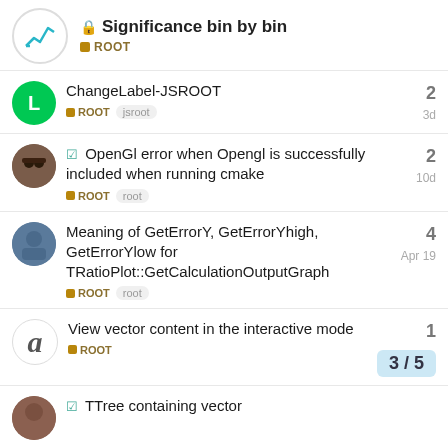🔒 Significance bin by bin — ROOT
ChangeLabel-JSROOT — ROOT jsroot — 2 replies — 3d
☑ OpenGl error when Opengl is successfully included when running cmake — ROOT root — 2 replies — 10d
Meaning of GetErrorY, GetErrorYhigh, GetErrorYlow for TRatioPlot::GetCalculationOutputGraph — ROOT root — 4 replies — Apr 19
View vector content in the interactive mode — ROOT — 1 reply
3 / 5
☑ TTree containing vector